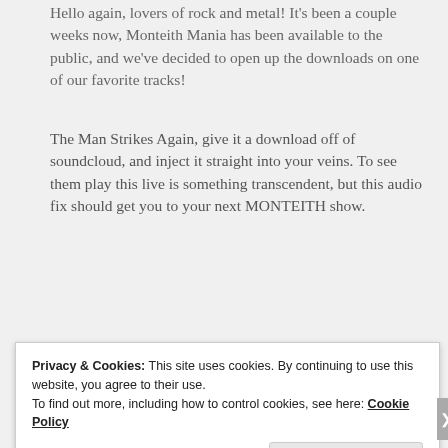Hello again, lovers of rock and metal! It's been a couple weeks now, Monteith Mania has been available to the public, and we've decided to open up the downloads on one of our favorite tracks!
The Man Strikes Again, give it a download off of soundcloud, and inject it straight into your veins. To see them play this live is something transcendent, but this audio fix should get you to your next MONTEITH show.
[Figure (screenshot): SoundCloud widget showing a music player with thumbnail, play button, track title 'UGA Rec... The M...' and share/download buttons]
Privacy & Cookies: This site uses cookies. By continuing to use this website, you agree to their use.
To find out more, including how to control cookies, see here: Cookie Policy
Close and accept